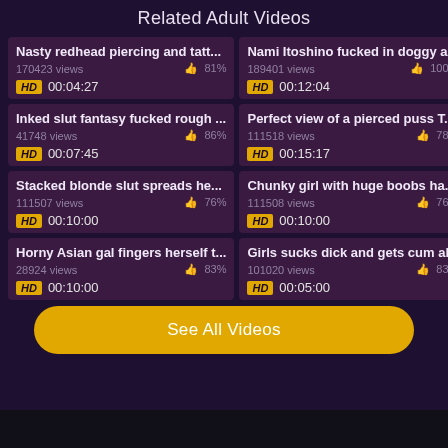Related Adult Videos
Nasty redhead piercing and tatt... | 170423 views | 81% | HD | 00:04:27
Nami Itoshino fucked in doggy a... | 189401 views | 100% | HD | 00:12:04
Inked slut fantasy fucked rough ... | 41748 views | 86% | HD | 00:07:45
Perfect view of a pierced puss T... | 111518 views | 78% | HD | 00:15:17
Stacked blonde slut spreads he... | 111507 views | 76% | HD | 00:10:00
Chunky girl with huge boobs ha... | 111508 views | 76% | HD | 00:10:00
Horny Asian gal fingers herself t... | 28924 views | 83% | HD | 00:10:00
Girls sucks dick and gets cum all | 101020 views | 83% | HD | 00:05:00
See All Videos